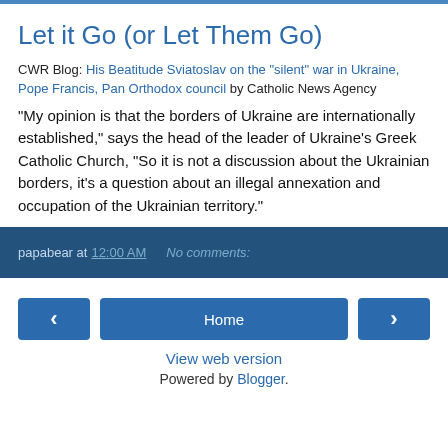Let it Go (or Let Them Go)
CWR Blog: His Beatitude Sviatoslav on the "silent" war in Ukraine, Pope Francis, Pan Orthodox council by Catholic News Agency
"My opinion is that the borders of Ukraine are internationally established," says the head of the leader of Ukraine's Greek Catholic Church, "So it is not a discussion about the Ukrainian borders, it's a question about an illegal annexation and occupation of the Ukrainian territory."
papabear at 12:00 AM   No comments:
< Home >
View web version
Powered by Blogger.